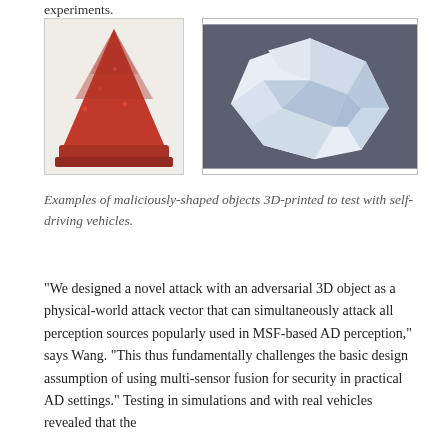experiments.
[Figure (photo): Two photos side by side: left shows a red 3D-printed cone/pyramid shaped object (resembling a traffic cone) on a white background; right shows a white 3D-printed faceted/crystalline rock-like object on a dark surface.]
Examples of maliciously-shaped objects 3D-printed to test with self-driving vehicles.
“We designed a novel attack with an adversarial 3D object as a physical-world attack vector that can simultaneously attack all perception sources popularly used in MSF-based AD perception,” says Wang. “This thus fundamentally challenges the basic design assumption of using multi-sensor fusion for security in practical AD settings.” Testing in simulations and with real vehicles revealed that the